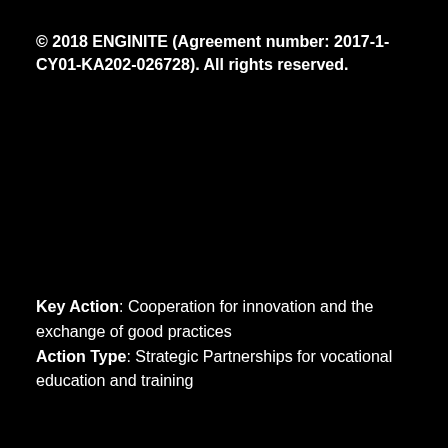© 2018 ENGINITE (Agreement number: 2017-1-CY01-KA202-026728). All rights reserved.
Key Action: Cooperation for innovation and the exchange of good practices Action Type: Strategic Partnerships for vocational education and training